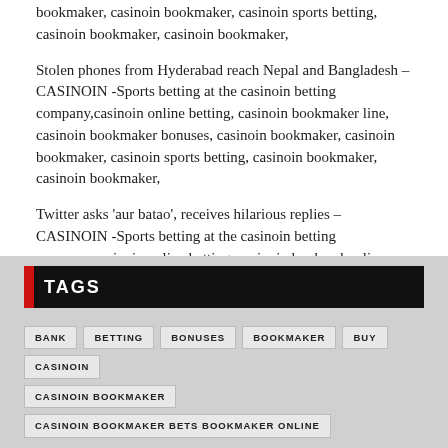bookmaker, casinoin bookmaker, casinoin sports betting, casinoin bookmaker, casinoin bookmaker,
Stolen phones from Hyderabad reach Nepal and Bangladesh – CASINOIN -Sports betting at the casinoin betting company,casinoin online betting, casinoin bookmaker line, casinoin bookmaker bonuses, casinoin bookmaker, casinoin bookmaker, casinoin sports betting, casinoin bookmaker, casinoin bookmaker,
Twitter asks 'aur batao', receives hilarious replies – CASINOIN -Sports betting at the casinoin betting company,casinoin online betting, casinoin bookmaker line, casinoin bookmaker bonuses, casinoin bookmaker, casinoin bookmaker, casinoin sports betting, casinoin bookmaker, casinoin bookmaker,
TAGS
BANK
BETTING
BONUSES
BOOKMAKER
BUY
CASINOIN
CASINOIN BOOKMAKER
CASINOIN BOOKMAKER BETS BOOKMAKER ONLINE
CASINOIN BOOKMAKER BETTING
CASINOIN BOOKMAKER BONUSES
CASINOIN BOOKMAKER GAME
CASINOIN BOOKMAKER LINE
CASINOIN BOOKMAKER ODDS
CASINOIN BOOKMAKERS IN UKRAINE